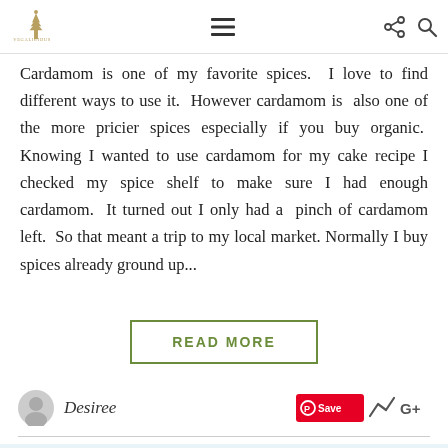Logo / navigation header with hamburger menu, share icon, and search icon
Cardamom is one of my favorite spices.  I love to find different ways to use it.  However cardamom is  also one of the more pricier spices especially if you buy organic.  Knowing I wanted to use cardamom for my cake recipe I checked my spice shelf to make sure I had enough cardamom.  It turned out I only had a  pinch  of  cardamom  left.   So  that  meant  a  trip  to  my  local market. Normally I buy spices already ground up...
READ MORE
Desiree